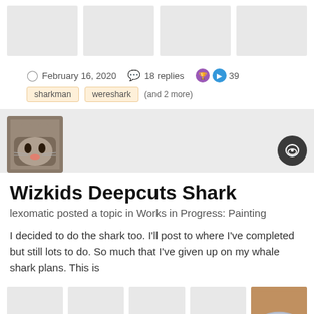[Figure (photo): Row of four gray placeholder image thumbnails at top of page]
February 16, 2020   18 replies   39
sharkman   wereshark   (and 2 more)
[Figure (photo): Cat avatar photo (profile picture of user lexomatic)]
Wizkids Deepcuts Shark
lexomatic posted a topic in Works in Progress: Painting
I decided to do the shark too. I'll post to where I've completed but still lots to do. So much that I've given up on my whale shark plans. This is
[Figure (photo): Grid of image thumbnails: four gray placeholders and one real photo of a gray shark miniature figurine on a pink/red surface]
[Figure (photo): Second row of five gray placeholder image thumbnails at bottom of page]